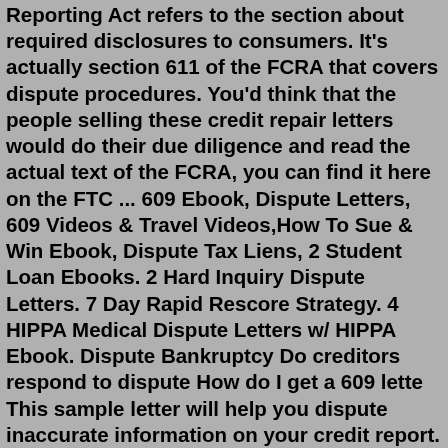Reporting Act refers to the section about required disclosures to consumers. It's actually section 611 of the FCRA that covers dispute procedures. You'd think that the people selling these credit repair letters would do their due diligence and read the actual text of the FCRA, you can find it here on the FTC ... 609 Ebook, Dispute Letters, 609 Videos & Travel Videos,How To Sue & Win Ebook, Dispute Tax Liens, 2 Student Loan Ebooks. 2 Hard Inquiry Dispute Letters. 7 Day Rapid Rescore Strategy. 4 HIPPA Medical Dispute Letters w/ HIPPA Ebook. Dispute Bankruptcy Do creditors respond to dispute How do I get a 609 lette This sample letter will help you dispute inaccurate information on your credit report. …A 609 letter sound fancy but it is nothing special. It's a dispute letter you send to a credit bureau that is reporting incorrect information about you. In fact if you go to AnnualCreditReport.com and get your free copy of each of your major credit reports you often find a dispute link or button right there on the...Mar 22, 2022 · Published on: 03/22/2022. Section 604 and